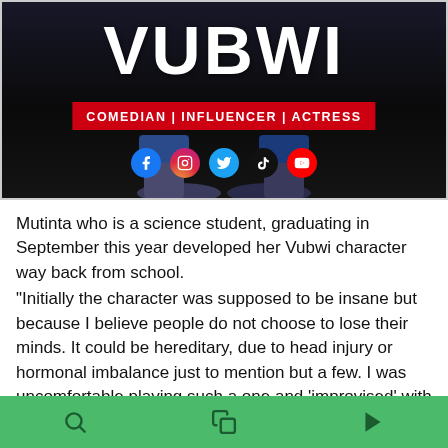[Figure (illustration): Promotional banner for Vubwi: dark background with person seated, large white text 'VUBWI', red bar with 'COMEDIAN | INFLUENCER | ACTRESS', five social media icons (Facebook, Instagram, Twitter, TikTok, YouTube)]
Mutinta who is a science student, graduating in September this year developed her Vubwi character way back from school.
"Initially the character was supposed to be insane but because I believe people do not choose to lose their minds. It could be hereditary, due to head injury or hormonal imbalance just to mention but a few. I was uncomfortable playing such a one and 'improvised' with a drunken one because people do choose to
[search] [copy] [play]